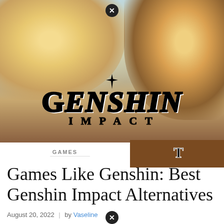[Figure (illustration): Hero image showing Genshin Impact game art with anime-style characters and the Genshin Impact logo overlaid on the image]
GAMES
Games Like Genshin: Best Genshin Impact Alternatives
August 20, 2022 | by Vaseline